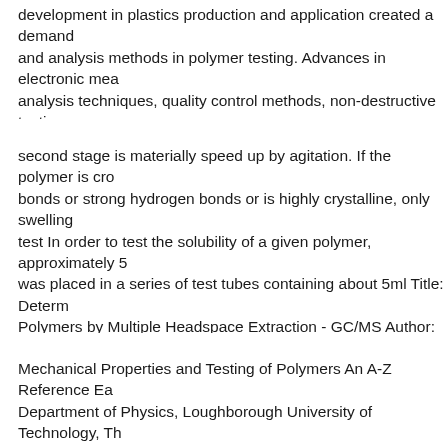development in plastics production and application created a demand and analysis methods in polymer testing. Advances in electronic mea analysis techniques, quality control methods, non-destructive testing analysis. In addition to the busy programme of presentations from lea Polymer Testing & Analysis 2017 will offer high-level networking op
second stage is materially speed up by agitation. If the polymer is cr bonds or strong hydrogen bonds or is highly crystalline, only swellin test In order to test the solubility of a given polymer, approximately 5 was placed in a series of test tubes containing about 5ml Title: Deter Polymers by Multiple Headspace Extraction - GC/MS Author: Perki production and quality control (QC) requires a variety of analytical t test is the analysis of residual monomers in the final polymer materia
Mechanical Properties and Testing of Polymers An A-Z Reference Ea Department of Physics, Loughborough University of Technology, Th Electromagnetic Radiation in Analysis.pdf Infrared Spectroscopy and NMR.pdf XRD.pdf SAXS.pdf Summary.pdf. The focus of this cours characterization of polymers and plastics. Analysis of polymeric syst